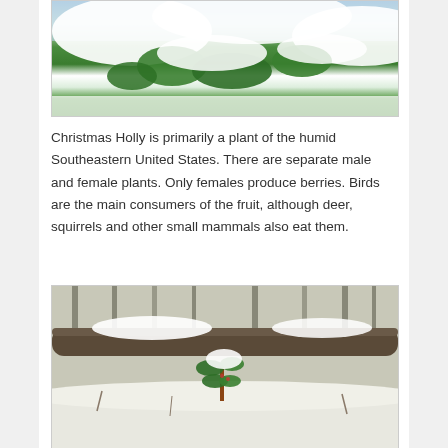[Figure (photo): Close-up photo of green holly leaves covered with snow against a blue sky background]
Christmas Holly is primarily a plant of the humid Southeastern United States. There are separate male and female plants. Only females produce berries. Birds are the main consumers of the fruit, although deer, squirrels and other small mammals also eat them.
[Figure (photo): Photo of a small holly plant covered in snow in a winter woodland setting with a fallen log in the background]